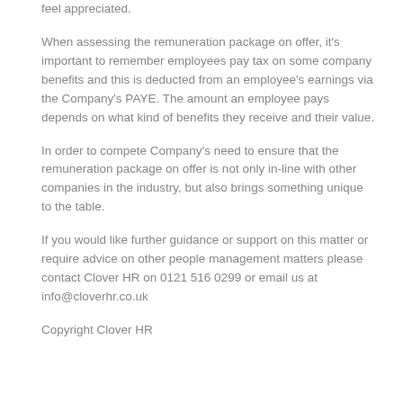feel appreciated.
When assessing the remuneration package on offer, it's important to remember employees pay tax on some company benefits and this is deducted from an employee's earnings via the Company's PAYE. The amount an employee pays depends on what kind of benefits they receive and their value.
In order to compete Company's need to ensure that the remuneration package on offer is not only in-line with other companies in the industry, but also brings something unique to the table.
If you would like further guidance or support on this matter or require advice on other people management matters please contact Clover HR on 0121 516 0299 or email us at info@cloverhr.co.uk
Copyright Clover HR